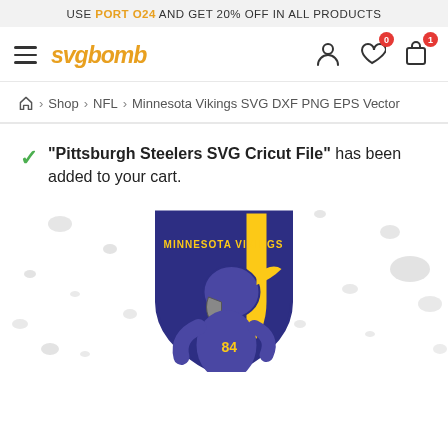USE PORT O24 AND GET 20% OFF IN ALL PRODUCTS
[Figure (screenshot): Website navigation bar with hamburger menu, svgbomb logo, user icon, wishlist icon with badge 0, and cart icon with badge 1]
Home > Shop > NFL > Minnesota Vikings SVG DXF PNG EPS Vector
"Pittsburgh Steelers SVG Cricut File" has been added to your cart.
[Figure (illustration): Minnesota Vikings football player mascot logo with purple and gold shield shape and 'MINNESOTA VIKINGS' text]